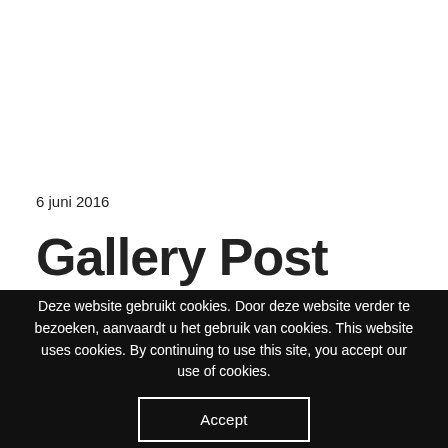6 juni 2016
Gallery Post Format
Deze website gebruikt cookies. Door deze website verder te bezoeken, aanvaardt u het gebruik van cookies. This website uses cookies. By continuing to use this site, you accept our use of cookies.
Accept